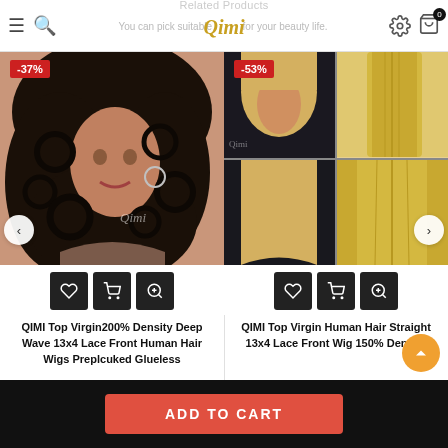Related Products — You can pick suitable wigs for your beauty life. Qimi
[Figure (photo): QIMI brand product photo – woman with curly black deep wave hair wig]
-37%
QIMI Top Virgin200% Density Deep Wave 13x4 Lace Front Human Hair Wigs Preplcuked Glueless
[Figure (photo): QIMI brand product photos – woman with straight blonde 613 lace front wig, four-panel collage]
-53%
QIMI Top Virgin Human Hair Straight 13x4 Lace Front Wig 150% Density
ADD TO CART